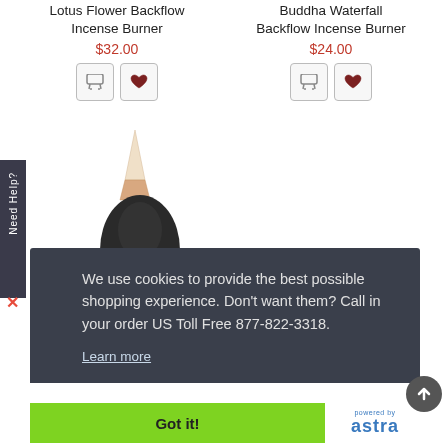Lotus Flower Backflow Incense Burner
$32.00
Buddha Waterfall Backflow Incense Burner
$24.00
[Figure (photo): Incense burner product photo showing a dark figurine with a cone incense stick on top]
We use cookies to provide the best possible shopping experience. Don't want them? Call in your order US Toll Free 877-822-3318.
Learn more
Got it!